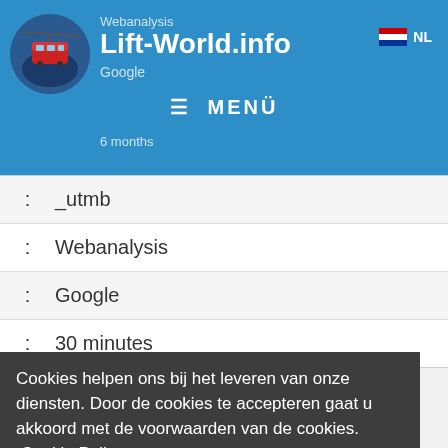Webanalysis | Lift-World.info | Google | 6 months | NL | MENÜ
| : | _utmb |
| : | Webanalysis |
| : | Google |
| : | 30 minutes |
| : | _utmc |
| : | Webanalysis |
| : | Google |
| : | Closing browser |
| : | _utmt |
| : | Webanalysis |
| : | Google |
| : | 6 months |
Cookies helpen ons bij het leveren van onze diensten. Door de cookies te accepteren gaat u akkoord met de voorwaarden van de cookies. Cookie Policy
Ok